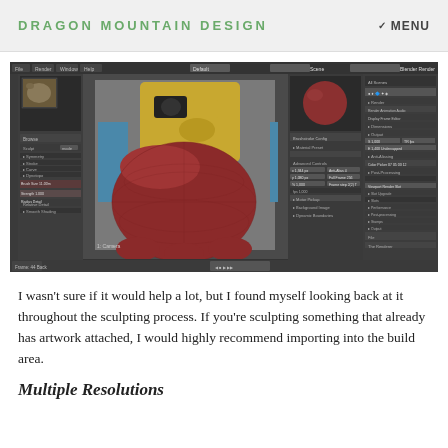DRAGON MOUNTAIN DESIGN   MENU
[Figure (screenshot): Screenshot of Blender 3D software showing a sculpted red helmet/head character with a yellow cartoon face (pirate-like figure) in the viewport, with various Blender UI panels visible on the left and right sides including material preview, properties panels, and toolbars.]
I wasn't sure if it would help a lot, but I found myself looking back at it throughout the sculpting process.  If you're sculpting something that already has artwork attached, I would highly recommend importing into the build area.
Multiple Resolutions